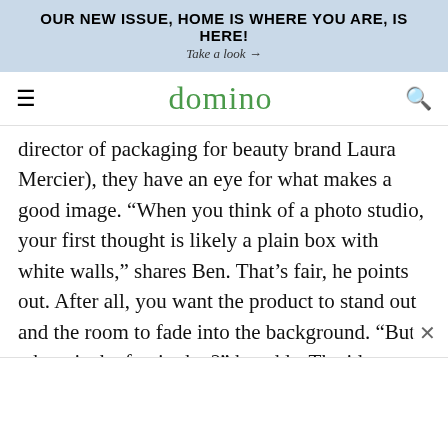OUR NEW ISSUE, HOME IS WHERE YOU ARE, IS HERE!
Take a look →
domino
director of packaging for beauty brand Laura Mercier), they have an eye for what makes a good image. “When you think of a photo studio, your first thought is likely a plain box with white walls,” shares Ben. That’s fair, he points out. After all, you want the product to stand out and the room to fade into the background. “But where is the fun in that?” he adds. The idea behind the